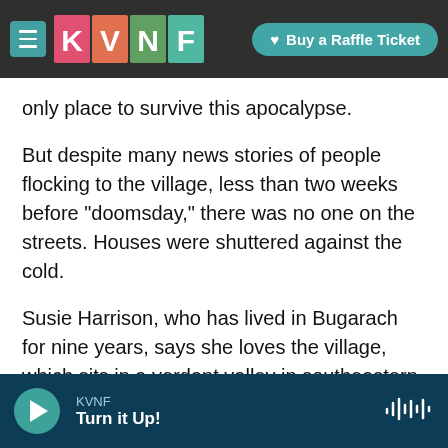[Figure (screenshot): KVNF website header bar with hamburger menu, KVNF logo in colorful triangular letters, and 'Buy a Raffle Ticket' teal button on a dark background]
only place to survive this apocalypse.
But despite many news stories of people flocking to the village, less than two weeks before "doomsday," there was no one on the streets. Houses were shuttered against the cold.
Susie Harrison, who has lived in Bugarach for nine years, says she loves the village, which sits in a verdant valley in southeastern France, dominated by a strange mesalike mountain.
"It's beautiful, remote, nature, healthy," she says,
KVNF
Turn it Up!